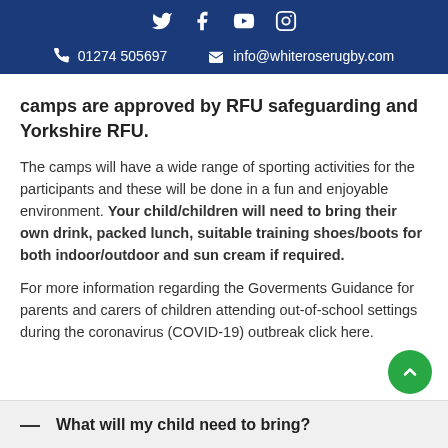Social icons: Twitter, Facebook, YouTube, Instagram | 01274 505697 | info@whiteroserugby.com
camps are approved by RFU safeguarding and Yorkshire RFU.
The camps will have a wide range of sporting activities for the participants and these will be done in a fun and enjoyable environment. Your child/children will need to bring their own drink, packed lunch, suitable training shoes/boots for both indoor/outdoor and sun cream if required.
For more information regarding the Goverments Guidance for parents and carers of children attending out-of-school settings during the coronavirus (COVID-19) outbreak click here.
What will my child need to bring?